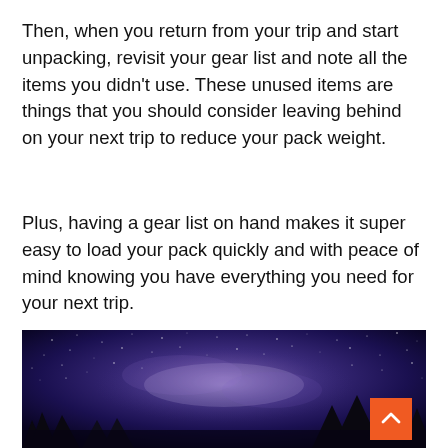Then, when you return from your trip and start unpacking, revisit your gear list and note all the items you didn't use. These unused items are things that you should consider leaving behind on your next trip to reduce your pack weight.
Plus, having a gear list on hand makes it super easy to load your pack quickly and with peace of mind knowing you have everything you need for your next trip.
[Figure (photo): Night sky photo showing the Milky Way galaxy with stars and purple/blue hues, with silhouettes of trees at the bottom. An orange scroll-to-top button with an upward chevron arrow is overlaid in the bottom-right corner.]